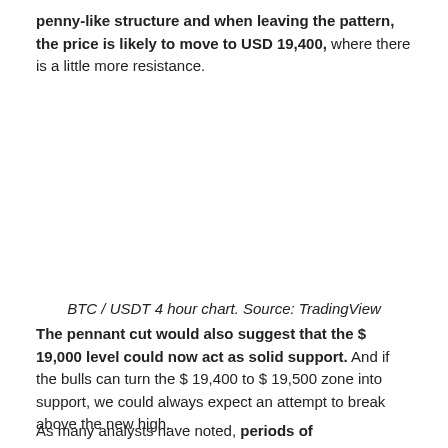penny-like structure and when leaving the pattern, the price is likely to move to USD 19,400, where there is a little more resistance.
BTC / USDT 4 hour chart. Source: TradingView
The pennant cut would also suggest that the $ 19,000 level could now act as solid support. And if the bulls can turn the $ 19,400 to $ 19,500 zone into support, we could always expect an attempt to break above the new high.
As many analysts have noted, periods of consolidation and